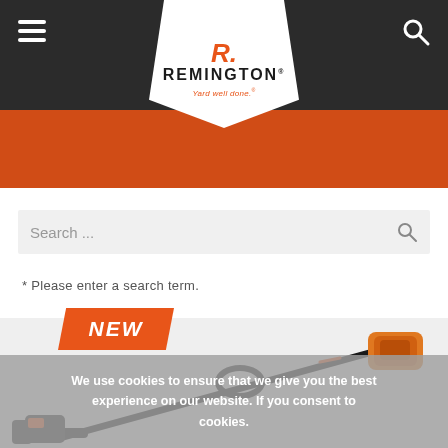[Figure (logo): Remington power tools logo with hamburger menu and search icon on dark header bar, orange accent banner below]
[Figure (screenshot): Search bar with placeholder text 'Search ...' and search icon]
* Please enter a search term.
[Figure (illustration): Orange 'NEW' badge diagonal parallelogram shape with white italic bold text]
[Figure (photo): Remington pole saw / chainsaw attachment product photo on light grey background]
We use cookies to ensure that we give you the best experience on our website. If you consent to cookies.